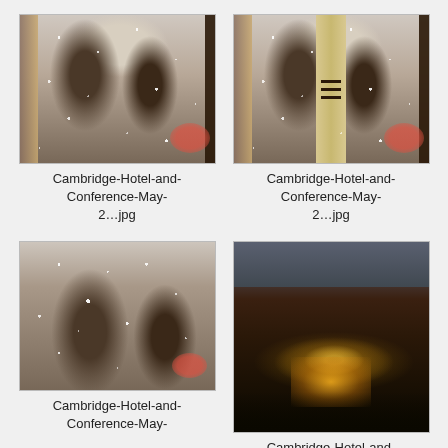[Figure (photo): Wedding couple about to kiss with confetti/snow, indoor venue with door frame visible, left image]
Cambridge-Hotel-and-Conference-May-2…jpg
[Figure (photo): Wedding couple about to kiss with confetti/snow, indoor venue, right image with middle divider visible]
Cambridge-Hotel-and-Conference-May-2…jpg
[Figure (photo): Wedding couple close-up, man with glasses and woman, confetti visible, indoor venue]
Cambridge-Hotel-and-Conference-May-
[Figure (photo): Dark reception hall with candle centerpiece on table, windows in background]
Cambridge-Hotel-and-Conference-May-